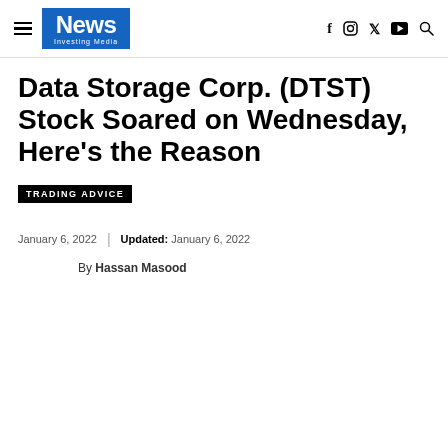News Investing Media
Data Storage Corp. (DTST) Stock Soared on Wednesday, Here’s the Reason
TRADING ADVICE
January 6, 2022 | Updated: January 6, 2022
By Hassan Masood